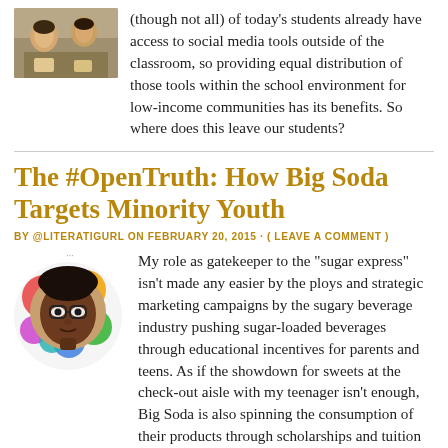[Figure (photo): Photo of students working together, appears to be in a classroom or similar setting]
(though not all) of today's students already have access to social media tools outside of the classroom, so providing equal distribution of those tools within the school environment for low-income communities has its benefits. So where does this leave our students?
The #OpenTruth: How Big Soda Targets Minority Youth
BY @LITERATIGURL ON FEBRUARY 20, 2015 · ( LEAVE A COMMENT )
[Figure (photo): Author avatar: photo of a young Black man with glasses surrounded by colorful circles/bubbles on a white background. Small ellipsis '...' above the image.]
My role as gatekeeper to the “sugar express” isn’t made any easier by the ploys and strategic marketing campaigns by the sugary beverage industry pushing sugar-loaded beverages through educational incentives for parents and teens. As if the showdown for sweets at the check-out aisle with my teenager isn’t enough, Big Soda is also spinning the consumption of their products through scholarships and tuition toward higher education.